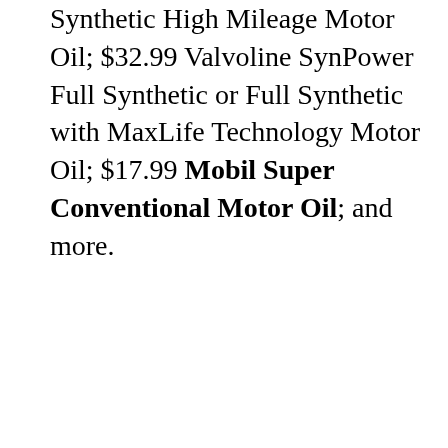Synthetic High Mileage Motor Oil; $32.99 Valvoline SynPower Full Synthetic or Full Synthetic with MaxLife Technology Motor Oil; $17.99 Mobil Super Conventional Motor Oil; and more.